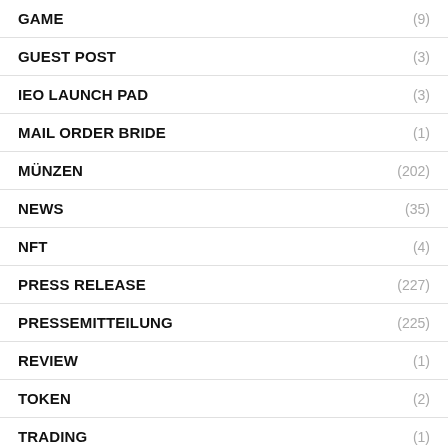GAME (9)
GUEST POST (3)
IEO LAUNCH PAD (3)
MAIL ORDER BRIDE (1)
MÜNZEN (202)
NEWS (35)
NFT (4)
PRESS RELEASE (227)
PRESSEMITTEILUNG (225)
REVIEW (1)
TOKEN (2)
TRADING (1)